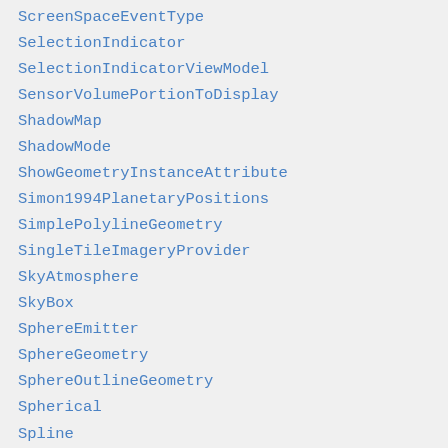ScreenSpaceEventType
SelectionIndicator
SelectionIndicatorViewModel
SensorVolumePortionToDisplay
ShadowMap
ShadowMode
ShowGeometryInstanceAttribute
Simon1994PlanetaryPositions
SimplePolylineGeometry
SingleTileImageryProvider
SkyAtmosphere
SkyBox
SphereEmitter
SphereGeometry
SphereOutlineGeometry
Spherical
Spline
SplitDirection
StencilFunction
StencilOperation